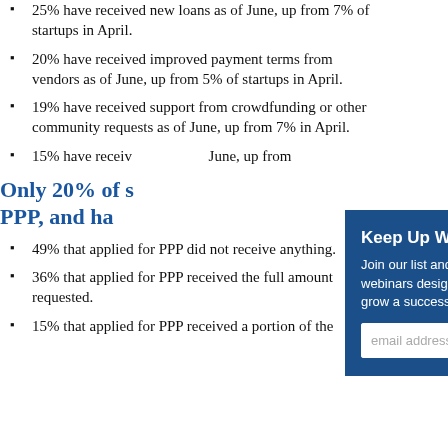25% have received new loans as of June, up from 7% of startups in April.
20% have received improved payment terms from vendors as of June, up from 5% of startups in April.
19% have received support from crowdfunding or other community requests as of June, up from 7% in April.
15% have received [support] as of June, up from [x%]
Only 20% of startups applied for PPP, and half...
[Figure (other): Popup overlay: 'Keep Up With SCORE Tulsa' email signup form with blue background, title, descriptive text, and email address input field.]
49% that applied for PPP did not receive anything.
36% that applied for PPP received the full amount requested.
15% that applied for PPP received a portion of the